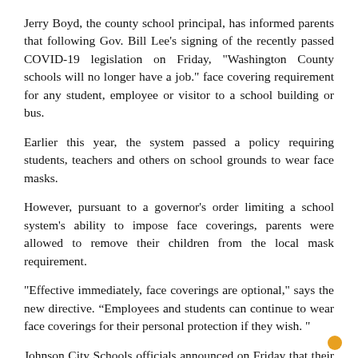Jerry Boyd, the county school principal, has informed parents that following Gov. Bill Lee’s signing of the recently passed COVID-19 legislation on Friday, “Washington County schools will no longer have a job.” face covering requirement for any student, employee or visitor to a school building or bus.
Earlier this year, the system passed a policy requiring students, teachers and others on school grounds to wear face masks.
However, pursuant to a governor’s order limiting a school system’s ability to impose face coverings, parents were allowed to remove their children from the local mask requirement.
“Effective immediately, face coverings are optional,” says the new directive. “Employees and students can continue to wear face coverings for their personal protection if they wish. ”
Johnson City Schools officials announced on Friday that their system had also ended its mask requirement.